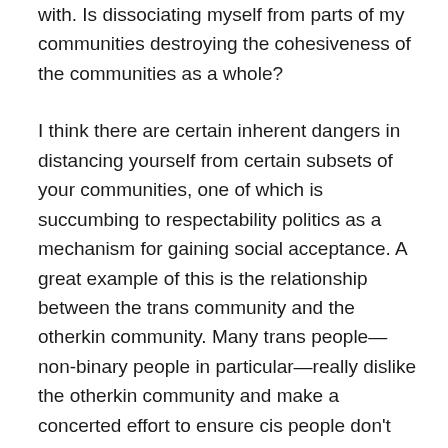with. Is dissociating myself from parts of my communities destroying the cohesiveness of the communities as a whole?
I think there are certain inherent dangers in distancing yourself from certain subsets of your communities, one of which is succumbing to respectability politics as a mechanism for gaining social acceptance. A great example of this is the relationship between the trans community and the otherkin community. Many trans people—non-binary people in particular—really dislike the otherkin community and make a concerted effort to ensure cis people don't associate the two. Otherkin folks draw a lot of ire from the trans community for eroding the credibility of the trans rights movement; what trans person hasn't been called an attack